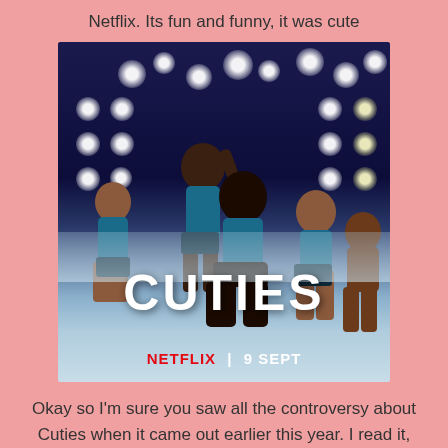Netflix. Its fun and funny, it was cute
[Figure (photo): Movie poster for 'Cuties' (Mignonnes) on Netflix. Shows young girls in blue dance costumes performing on a stage with spotlights. Large white text reads 'CUTIES' with 'NETFLIX | 9 SEPT' below in red and white.]
Okay so I'm sure you saw all the controversy about Cuties when it came out earlier this year. I read it, but probably wouldn't have ever watched the film had I not read a post